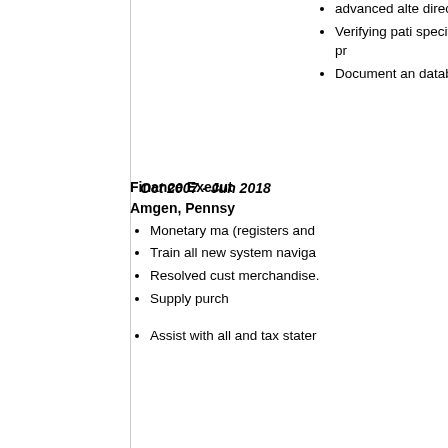advanced alte directed.
Verifying pati specifics for v access and pr
Document an database (Pat
Oct 2007 - Jun 2018
Finance Execut Amgen, Pennsy
Monetary ma (registers and
Train all new system naviga
Resolved cust merchandise.
Supply purch
Assist with all and tax stater